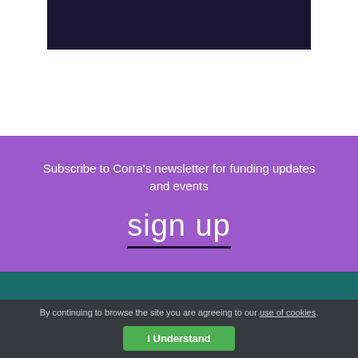[Figure (other): Dark navy/indigo header bar at top of page]
Subscribe to Corra's newsletter for funding updates and events
sign up
By continuing to browse the site you are agreeing to our use of cookies.
I Understand